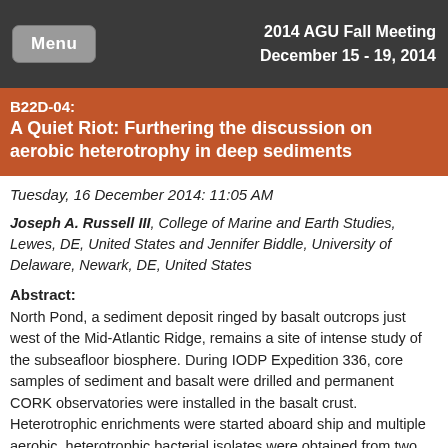2014 AGU Fall Meeting
December 15 - 19, 2014
B22D-04: A Quiet Riot: Furthering the discussion on aerobic heterotrophy in deep sediments
Tuesday, 16 December 2014: 11:05 AM
Joseph A. Russell III, College of Marine and Earth Studies, Lewes, DE, United States and Jennifer Biddle, University of Delaware, Newark, DE, United States
Abstract:
North Pond, a sediment deposit ringed by basalt outcrops just west of the Mid-Atlantic Ridge, remains a site of intense study of the subseafloor biosphere. During IODP Expedition 336, core samples of sediment and basalt were drilled and permanent CORK observatories were installed in the basalt crust. Heterotrophic enrichments were started aboard ship and multiple aerobic, heterotrophic bacterial isolates were obtained from two sediment horizons. Isolate identities were compared to sequences from drilling fluid and surrounding sediment to establish the likelihood of their origin — contaminant vs. indigenous.